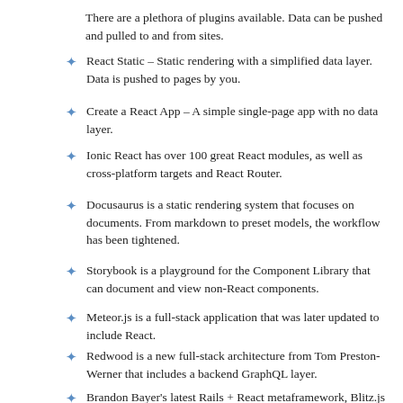There are a plethora of plugins available. Data can be pushed and pulled to and from sites.
React Static – Static rendering with a simplified data layer. Data is pushed to pages by you.
Create a React App – A simple single-page app with no data layer.
Ionic React has over 100 great React modules, as well as cross-platform targets and React Router.
Docusaurus is a static rendering system that focuses on documents. From markdown to preset models, the workflow has been tightened.
Storybook is a playground for the Component Library that can document and view non-React components.
Meteor.js is a full-stack application that was later updated to include React.
Redwood is a new full-stack architecture from Tom Preston-Werner that includes a backend GraphQL layer.
Brandon Bayer's latest Rails + React metaframework, Blitz.js